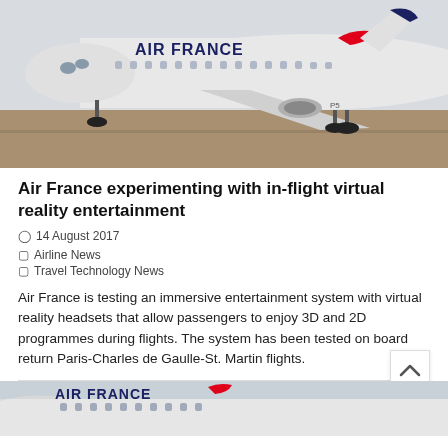[Figure (photo): Air France Boeing aircraft on tarmac, showing nose and fuselage with Air France livery and red swoosh logo]
Air France experimenting with in-flight virtual reality entertainment
14 August 2017
Airline News
Travel Technology News
Air France is testing an immersive entertainment system with virtual reality headsets that allow passengers to enjoy 3D and 2D programmes during flights. The system has been tested on board return Paris-Charles de Gaulle-St. Martin flights.
[Figure (photo): Partial view of Air France aircraft on runway, showing nose section with Air France lettering and red swoosh logo]